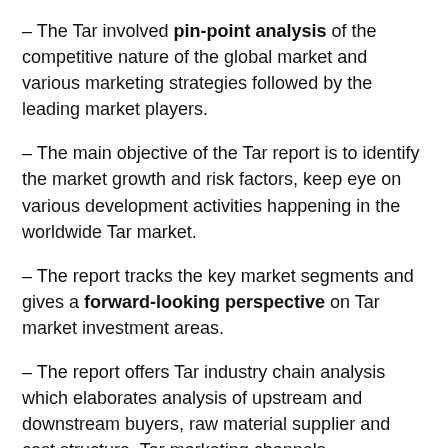– The Tar involved pin-point analysis of the competitive nature of the global market and various marketing strategies followed by the leading market players.
– The main objective of the Tar report is to identify the market growth and risk factors, keep eye on various development activities happening in the worldwide Tar market.
– The report tracks the key market segments and gives a forward-looking perspective on Tar market investment areas.
– The report offers Tar industry chain analysis which elaborates analysis of upstream and downstream buyers, raw material supplier and cost structure, Tar marketing channels.
– The report includes a new project investment feasibility